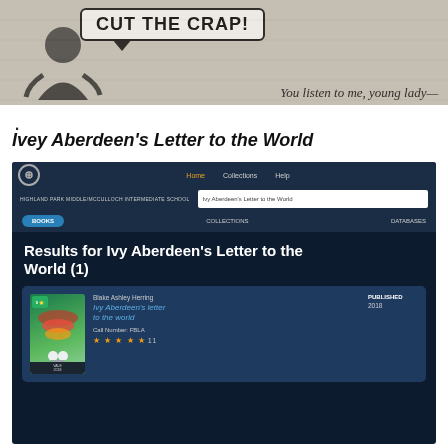[Figure (illustration): Comic strip panel showing a speech bubble with 'CUT THE CRAP!' and handwritten text 'You listen to me, young lady—' with a figure illustration]
.
Ivey Aberdeen's Letter to the World
[Figure (screenshot): Library catalog screenshot showing search results for 'Ivy Aberdeen's Letter to the World' on Highland Park Middle/McCulloch Intermediate School library system. Results show 1 book: 'Ivy Aberdeen's letter to the world' by Blake Ashley Herring, Published 2018, Call Number: FBLA, with 4.5 star rating.]